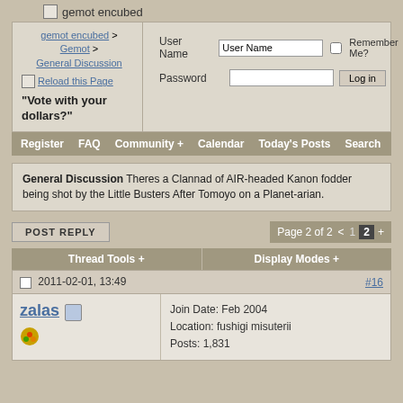[Figure (logo): gemot encubed logo with small icon]
| gemot encubed > Gemot > General Discussion | User Name [input] Remember Me? [checkbox]
Password [input] [Log in button] |
Reload this Page
"Vote with your dollars?"
Register   FAQ   Community +   Calendar   Today's Posts   Search
General Discussion Theres a Clannad of AIR-headed Kanon fodder being shot by the Little Busters After Tomoyo on a Planet-arian.
POST REPLY
Page 2 of 2  <  1  2  +
Thread Tools +   Display Modes +
2011-02-01, 13:49   #16
zalas
Join Date: Feb 2004
Location: fushigi misuterii
Posts: 1,831